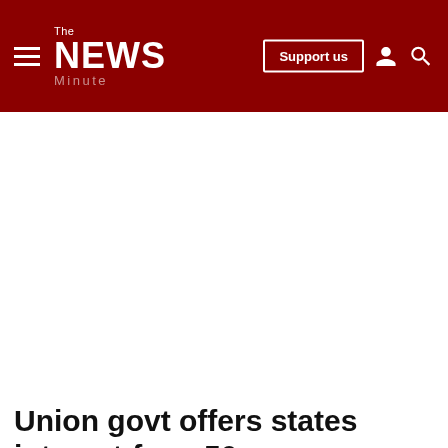The News Minute — Support us
Union govt offers states interest-free, 50-year